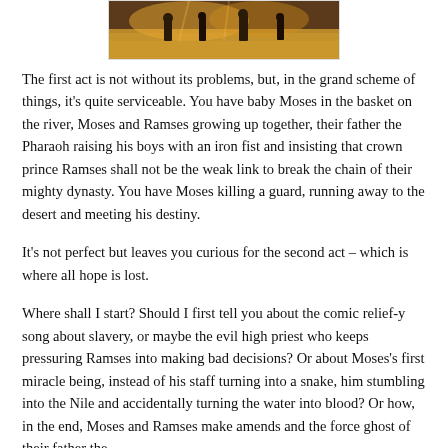[Figure (photo): Stage performance photo showing actors on a theatrical set with warm amber/golden lighting, figures standing on stage.]
The first act is not without its problems, but, in the grand scheme of things, it's quite serviceable. You have baby Moses in the basket on the river, Moses and Ramses growing up together, their father the Pharaoh raising his boys with an iron fist and insisting that crown prince Ramses shall not be the weak link to break the chain of their mighty dynasty. You have Moses killing a guard, running away to the desert and meeting his destiny.
It's not perfect but leaves you curious for the second act – which is where all hope is lost.
Where shall I start? Should I first tell you about the comic relief-y song about slavery, or maybe the evil high priest who keeps pressuring Ramses into making bad decisions? Or about Moses's first miracle being, instead of his staff turning into a snake, him stumbling into the Nile and accidentally turning the water into blood? Or how, in the end, Moses and Ramses make amends and the force ghost of their father the